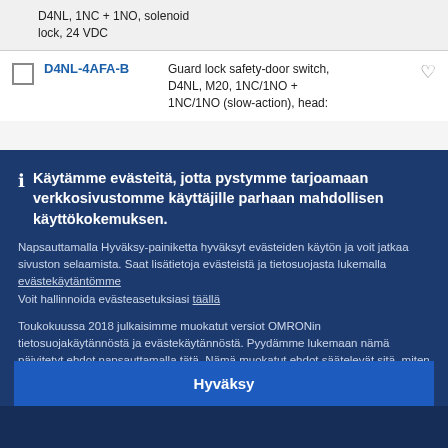D4NL, 1NC + 1NO, solenoid lock, 24 VDC
| D4NL-4AFA-B | Guard lock safety-door switch, D4NL, M20, 1NC/1NO + 1NC/1NO (slow-action), head: |
Käytämme evästeitä, jotta pystymme tarjoamaan verkkosivustomme käyttäjille parhaan mahdollisen käyttökokemuksen.
Napsauttamalla Hyväksy-painiketta hyväksyt evästeiden käytön ja voit jatkaa sivuston selaamista. Saat lisätietoja evästeistä ja tietosuojasta lukemalla evästekäytäntömme
Voit hallinnoida evästeasetuksiasi täällä
Toukokuussa 2018 julkaisimme muokatut versiot OMRONin tietosuojakäytännöstä ja evästekäytännöstä. Pyydämme lukemaan nämä päivitetyt ehdot napsauttamalla tätä. Nämä muokatut ehdot säätelevät sitä, miten voit käyttää tuotteitamme ja palveluitamme.
Hyväksy